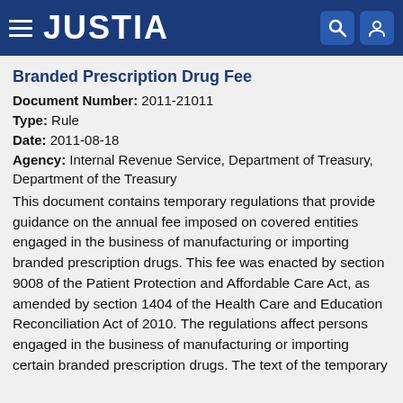JUSTIA
Branded Prescription Drug Fee
Document Number: 2011-21011
Type: Rule
Date: 2011-08-18
Agency: Internal Revenue Service, Department of Treasury, Department of the Treasury
This document contains temporary regulations that provide guidance on the annual fee imposed on covered entities engaged in the business of manufacturing or importing branded prescription drugs. This fee was enacted by section 9008 of the Patient Protection and Affordable Care Act, as amended by section 1404 of the Health Care and Education Reconciliation Act of 2010. The regulations affect persons engaged in the business of manufacturing or importing certain branded prescription drugs. The text of the temporary